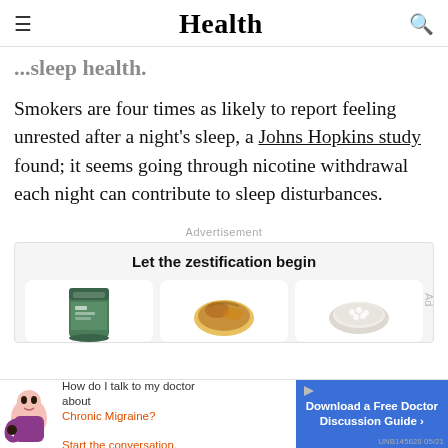Health
...sleep health.
Smokers are four times as likely to report feeling unrested after a night's sleep, a Johns Hopkins study found; it seems going through nicotine withdrawal each night can contribute to sleep disturbances.
Advertisement
[Figure (other): Advertisement banner: 'Let the zestification begin' with food product cards showing a green can, a plate of food, and a rice bowl.]
[Figure (other): Bottom advertisement: 'How do I talk to my doctor about Chronic Migraine? Start the conversation.' with a Download a Free Doctor Discussion Guide button and UNB145628 05/21 badge.]